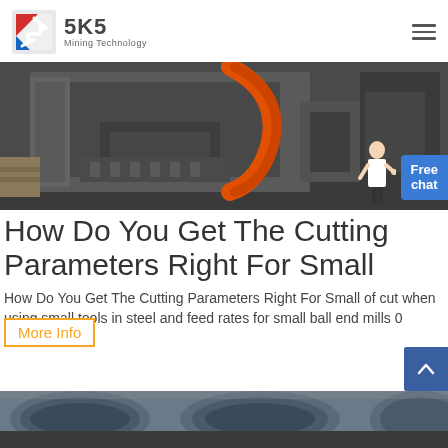SKS Mining Technology
[Figure (photo): Industrial mining/cutting machine with dark gray metal frame and orange curved element, shown in a workshop/factory setting]
How Do You Get The Cutting Parameters Right For Small
How Do You Get The Cutting Parameters Right For Small of cut when using small tools in steel and feed rates for small ball end mills 0
[Figure (photo): Bottom strip showing industrial machinery/cylindrical components in dark blue/gray tones]